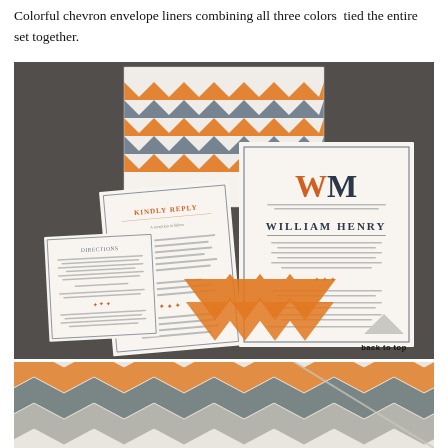Colorful chevron envelope liners combining all three colors  tied the entire set together.
[Figure (photo): Photo of wedding stationery suite laid out on a dark textured surface. Components include an envelope with colorful orange, blue, and gray chevron liner, a reply card with 'KINDLY REPLY' header, a details/directions card with small text, and a main invitation card showing 'WM' monogram in orange and dark colors and 'WILLIAM HENRY' in serif type. A 'back to top' button with upward-pointing triangle is visible in the bottom-right corner of the photo.]
[Figure (photo): Close-up photo of chevron envelope liner pattern showing orange, gray, and white zigzag stripes on textured paper stock, with a folded edge/crease visible.]